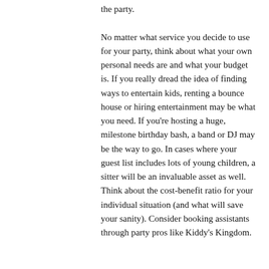the party.

No matter what service you decide to use for your party, think about what your own personal needs are and what your budget is. If you really dread the idea of finding ways to entertain kids, renting a bounce house or hiring entertainment may be what you need. If you're hosting a huge, milestone birthday bash, a band or DJ may be the way to go. In cases where your guest list includes lots of young children, a sitter will be an invaluable asset as well. Think about the cost-benefit ratio for your individual situation (and what will save your sanity). Consider booking assistants through party pros like Kiddy's Kingdom.